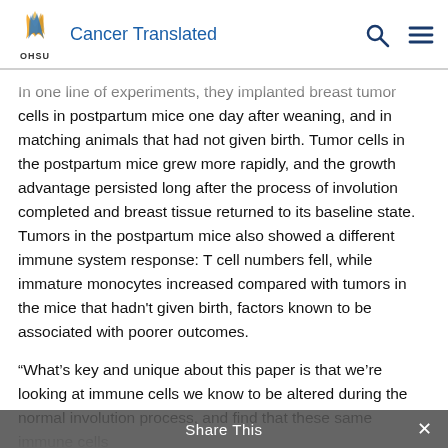Cancer Translated
In one line of experiments, they implanted breast tumor cells in postpartum mice one day after weaning, and in matching animals that had not given birth. Tumor cells in the postpartum mice grew more rapidly, and the growth advantage persisted long after the process of involution completed and breast tissue returned to its baseline state.
Tumors in the postpartum mice also showed a different immune system response: T cell numbers fell, while immature monocytes increased compared with tumors in the mice that hadn't given birth, factors known to be associated with poorer outcomes.
“What’s key and unique about this paper is that we’re looking at immune cells we know to be altered during the normal involution process, and find that these same immune cells
Share This